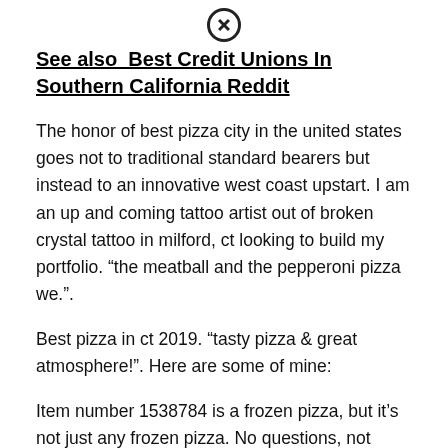[Figure (other): Close/cancel button icon (circle with X)]
See also  Best Credit Unions In Southern California Reddit
The honor of best pizza city in the united states goes not to traditional standard bearers but instead to an innovative west coast upstart. I am an up and coming tattoo artist out of broken crystal tattoo in milford, ct looking to build my portfolio. “the meatball and the pepperoni pizza we.”.
Best pizza in ct 2019. “tasty pizza & great atmosphere!”. Here are some of mine:
Item number 1538784 is a frozen pizza, but it’s not just any frozen pizza. No questions, not rude, not confused, just nice and. [close icon] tripadvisor traveler